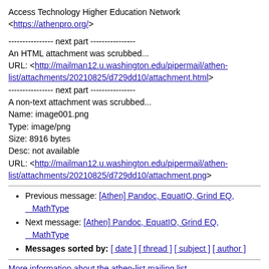Access Technology Higher Education Network
<https://athenpro.org/>
---------------- next part ----------------
An HTML attachment was scrubbed...
URL: <http://mailman12.u.washington.edu/pipermail/athen-list/attachments/20210825/d729dd10/attachment.html>
---------------- next part ----------------
A non-text attachment was scrubbed...
Name: image001.png
Type: image/png
Size: 8916 bytes
Desc: not available
URL: <http://mailman12.u.washington.edu/pipermail/athen-list/attachments/20210825/d729dd10/attachment.png>
Previous message: [Athen] Pandoc, EquatIO, Grind EQ, MathType
Next message: [Athen] Pandoc, EquatIO, Grind EQ, MathType
Messages sorted by: [ date ] [ thread ] [ subject ] [ author ]
More information about the athen-list mailing list